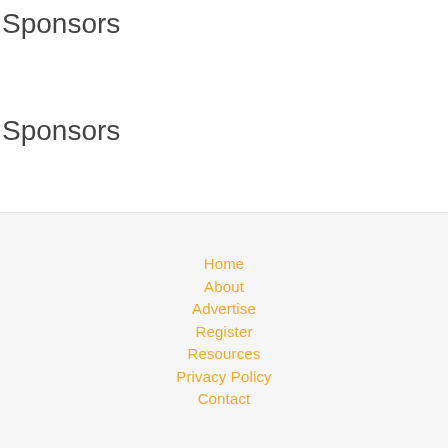Sponsors
Sponsors
Home
About
Advertise
Register
Resources
Privacy Policy
Contact